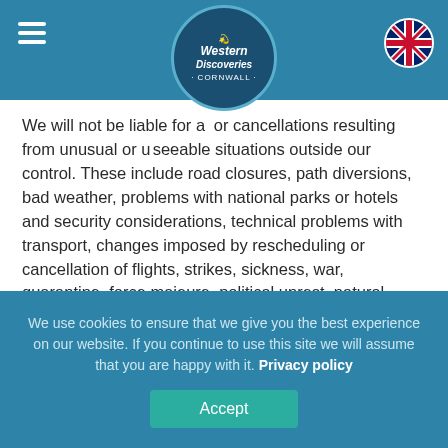[Figure (logo): Western Discoveries Cornwall circular logo with dark blue background and italic script text]
We will not be liable for any alterations or cancellations resulting from unusual or unforeseeable situations outside our control. These include road closures, path diversions, bad weather, problems with national parks or hotels and security considerations, technical problems with transport, changes imposed by rescheduling or cancellation of flights, strikes, sickness, war, quarantine, force majeure, political unrest, natural disasters, acts of God, epidemic or terrorist activity.
In the event of any of the above, you will be responsible for any additional costs incurred although some costs may be recoverable from your insurance policy.
We use cookies to ensure that we give you the best experience on our website. If you continue to use this site we will assume that you are happy with it. Privacy policy